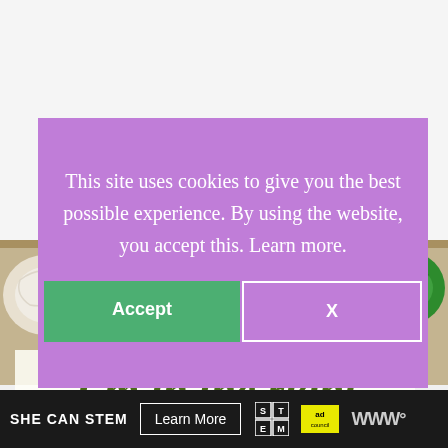[Figure (photo): Screenshot of a website with a cookie consent popup overlay. Background shows colorful yarn balls on a shelf with text 'I'm in the right' in dark olive green italic bold font. A purple cookie consent modal overlays the center with text and Accept/X buttons. Bottom has a dark ad bar for 'SHE CAN STEM'.]
This site uses cookies to give you the best possible experience. By using the website, you accept this. Learn more.
Accept
X
I'm in the right
SHE CAN STEM   Learn More